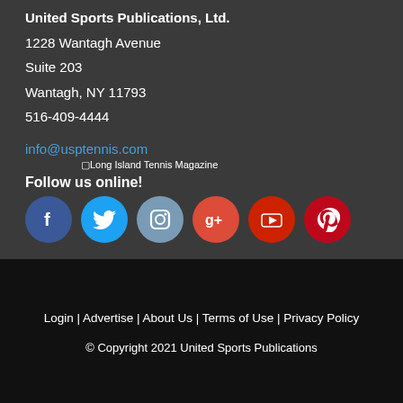United Sports Publications, Ltd.
1228 Wantagh Avenue
Suite 203
Wantagh, NY 11793
516-409-4444
info@usptennis.com
[Figure (logo): Long Island Tennis Magazine logo image (broken/placeholder)]
Follow us online!
[Figure (infographic): Six circular social media icons: Facebook (blue), Twitter (light blue), Instagram (slate blue), Google+ (red-orange), YouTube (red), Pinterest (dark red)]
Login | Advertise | About Us | Terms of Use | Privacy Policy
© Copyright 2021 United Sports Publications